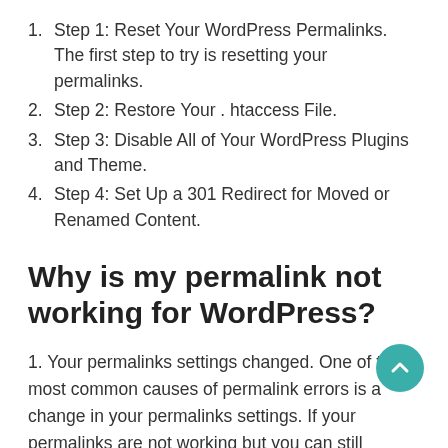Step 1: Reset Your WordPress Permalinks. The first step to try is resetting your permalinks.
Step 2: Restore Your . htaccess File.
Step 3: Disable All of Your WordPress Plugins and Theme.
Step 4: Set Up a 301 Redirect for Moved or Renamed Content.
Why is my permalink not working for WordPress?
1. Your permalinks settings changed. One of the most common causes of permalink errors is a change in your permalinks settings. If your permalinks are not working but you can still access your WordPress login page, then go to your WordPress dashboard using the login